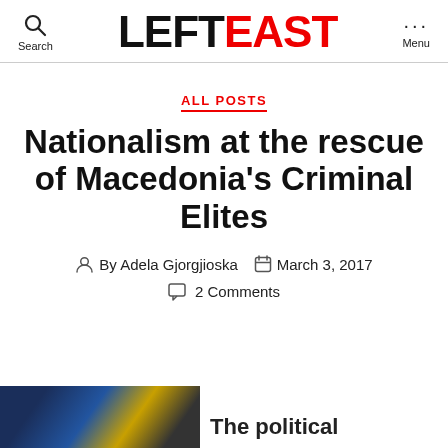LeftEast — Search / Menu
ALL POSTS
Nationalism at the rescue of Macedonia's Criminal Elites
By Adela Gjorgjioska   March 3, 2017   2 Comments
[Figure (photo): Partial photo at bottom left corner, dark with yellow/blue hues]
The political